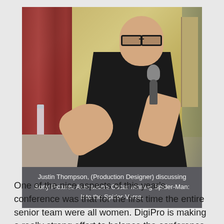[Figure (photo): A bald man wearing black-rimmed glasses and a black t-shirt sits in a chair holding a microphone and gesturing with his left hand, speaking at a panel or conference event. Red curtains and a yellowish wall are visible in the background.]
Justin Thompson, (Production Designer) discussing Sony Pictures Animation's Oscar winning Spider-Man: Into the Spider-Verse.
One of the nice aspects of this year's conference was that for the first time the entire senior team were all women. DigiPro is making a really strong effort to balance the conference and be inclusive. The team